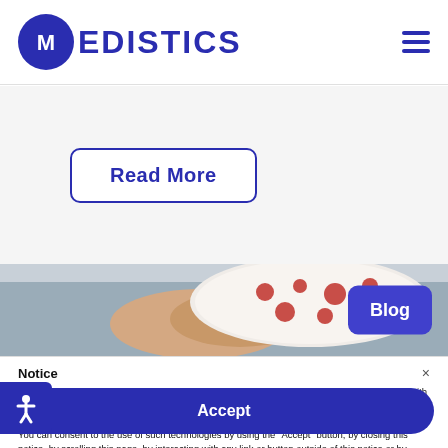[Figure (logo): Medistics logo: dark blue circle with stylized M, followed by EDISTICS text in dark blue]
[Figure (illustration): Hamburger menu icon (three horizontal dark blue lines)]
Read More
[Figure (photo): Person holding a white face mask with red polka dots, with a Blog badge in the top right corner]
Notice
We and selected third parties use cookies or similar technologies for technical purposes and, with your consent, for other purposes as specified in the cookie policy. Denying consent may make related features unavailable.
You can consent to the use of such technologies by using the "Accept" button, by closing this notice, by scrolling this page, by interacting with any link or button outside of this notice or by continuing to browse otherwise.
Accept